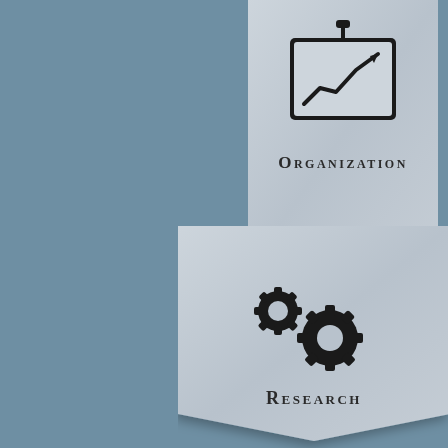[Figure (infographic): A silvery ribbon/banner shape pointing downward with a presentation chart icon (upward trending line in a framed board) and the word ORGANIZATION in small-caps serif lettering]
[Figure (infographic): A silvery card/panel shape with two interlocking gear icons and the word RESEARCH in small-caps serif lettering]